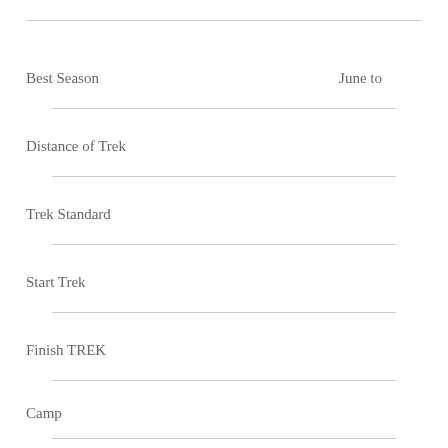| Best Season | June  to |
| Distance of Trek |  |
| Trek Standard |  |
| Start Trek |  |
| Finish TREK |  |
| Camp |  |
| Hotel |  |